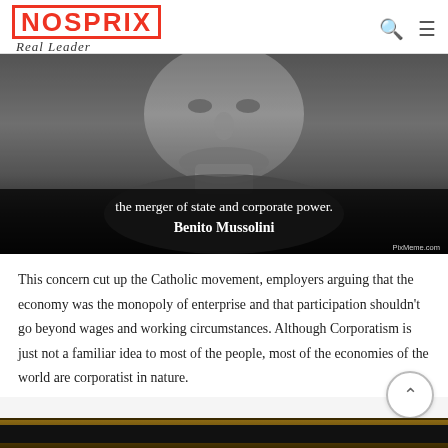NOSPRIX Real Leader
[Figure (photo): Black and white close-up photograph of a man in military uniform. Text overlay at bottom reads: 'the merger of state and corporate power. Benito Mussolini' with PixMeme.com watermark.]
This concern cut up the Catholic movement, employers arguing that the economy was the monopoly of enterprise and that participation shouldn't go beyond wages and working circumstances. Although Corporatism is just not a familiar idea to most of the people, most of the economies of the world are corporatist in nature.